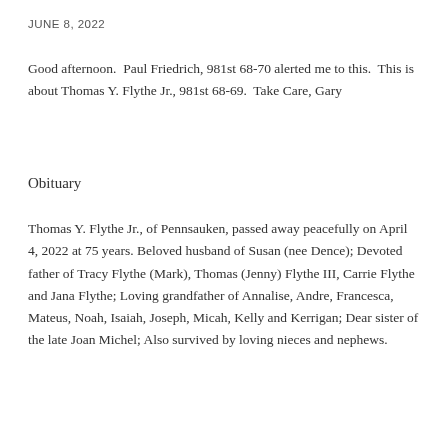JUNE 8, 2022
Good afternoon.  Paul Friedrich, 981st 68-70 alerted me to this.  This is about Thomas Y. Flythe Jr., 981st 68-69.  Take Care, Gary
Obituary
Thomas Y. Flythe Jr., of Pennsauken, passed away peacefully on April 4, 2022 at 75 years. Beloved husband of Susan (nee Dence); Devoted father of Tracy Flythe (Mark), Thomas (Jenny) Flythe III, Carrie Flythe and Jana Flythe; Loving grandfather of Annalise, Andre, Francesca, Mateus, Noah, Isaiah, Joseph, Micah, Kelly and Kerrigan; Dear sister of the late Joan Michel; Also survived by loving nieces and nephews.